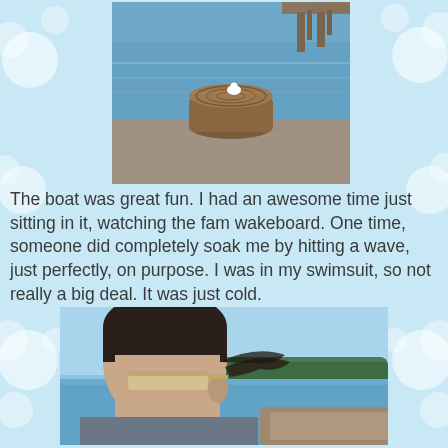[Figure (photo): Outdoor photo showing a wooden tree stump near a waterfront with a dock and water in the background. A small white bird or object sits on top of the stump.]
The boat was great fun.  I had an awesome time just sitting in it, watching the fam wakeboard.  One time, someone did completely soak me by hitting a wave, just perfectly, on purpose.  I was in my swimsuit, so not really a big deal.  It was just cold.
[Figure (photo): Photo of a person with dark hair and sunglasses on a boat, with a lake and tree-lined hills visible in the background.]